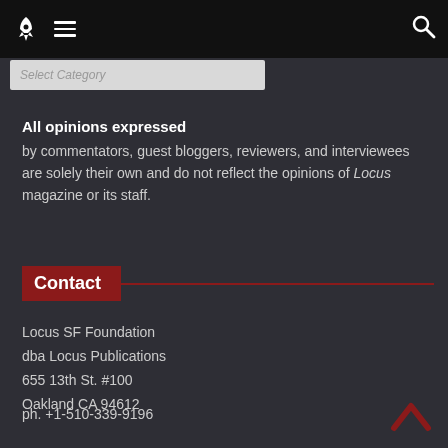Locus Magazine navigation bar with rocket logo, hamburger menu, and search icon
Select Category
All opinions expressed by commentators, guest bloggers, reviewers, and interviewees are solely their own and do not reflect the opinions of Locus magazine or its staff.
Contact
Locus SF Foundation
dba Locus Publications
655 13th St. #100
Oakland CA 94612
ph. +1-510-339-9196